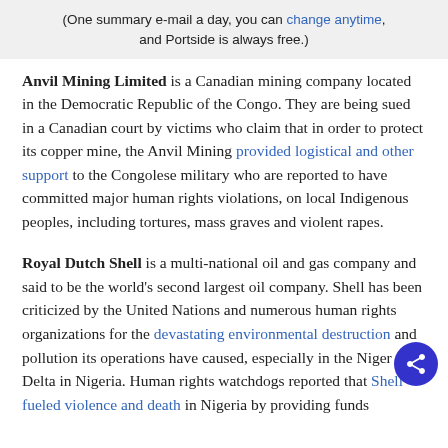(One summary e-mail a day, you can change anytime, and Portside is always free.)
Anvil Mining Limited is a Canadian mining company located in the Democratic Republic of the Congo. They are being sued in a Canadian court by victims who claim that in order to protect its copper mine, the Anvil Mining provided logistical and other support to the Congolese military who are reported to have committed major human rights violations, on local Indigenous peoples, including tortures, mass graves and violent rapes.
Royal Dutch Shell is a multi-national oil and gas company and said to be the world’s second largest oil company. Shell has been criticized by the United Nations and numerous human rights organizations for the devastating environmental destruction and pollution its operations have caused, especially in the Niger Delta in Nigeria. Human rights watchdogs reported that Shell fueled violence and death in Nigeria by providing funds